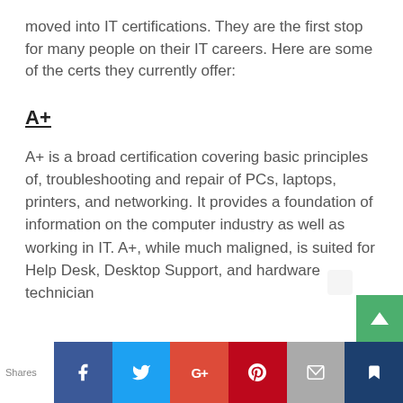moved into IT certifications. They are the first stop for many people on their IT careers. Here are some of the certs they currently offer:
A+
A+ is a broad certification covering basic principles of, troubleshooting and repair of PCs, laptops, printers, and networking. It provides a foundation of information on the computer industry as well as working in IT. A+, while much maligned, is suited for Help Desk, Desktop Support, and hardware technician